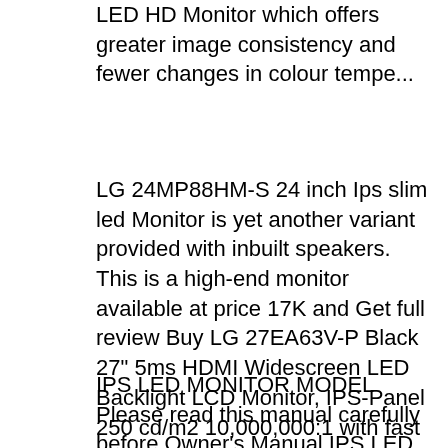LED HD Monitor which offers greater image consistency and fewer changes in colour tempe...
LG 24MP88HM-S 24 inch Ips slim led Monitor is yet another variant provided with inbuilt speakers. This is a high-end monitor available at price 17K and Get full review Buy LG 27EA63V-P Black 27" 5ms HDMI Widescreen LED Backlight LCD Monitor, IPS-Panel 250 cd/m2 10,000,000:1 with fast shipping and top-rated customer service.
IPS LED MONITOR MODEL Please read this manual carefully before Owner's Manual IPS LED MONITOR (LED MONITOR*) *LG LED Monitors are LCD --